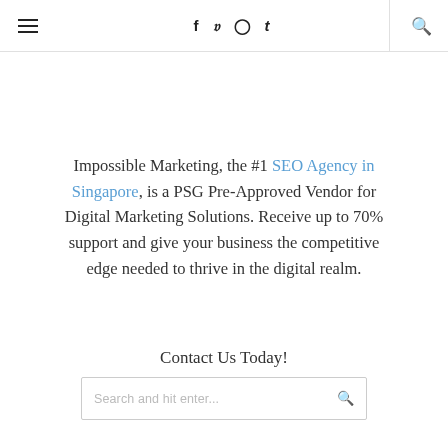[hamburger menu] f t pinterest tumblr [search icon]
Impossible Marketing, the #1 SEO Agency in Singapore, is a PSG Pre-Approved Vendor for Digital Marketing Solutions. Receive up to 70% support and give your business the competitive edge needed to thrive in the digital realm.
Contact Us Today!
Search and hit enter...